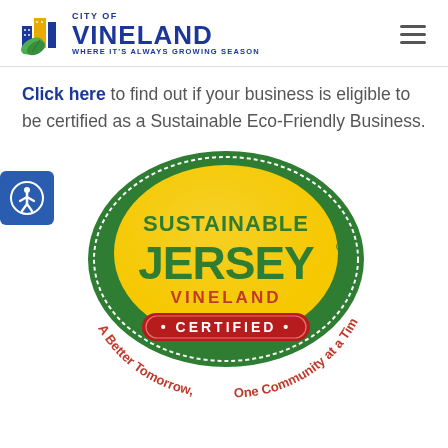City of Vineland - Where It's Always Growing Season
Click here to find out if your business is eligible to be certified as a Sustainable Eco-Friendly Business.
[Figure (logo): Sustainable Jersey Vineland Certified badge with green oval, yellow center, red certified banner, and red curved text reading A Better Tomorrow, One Community at a Time]